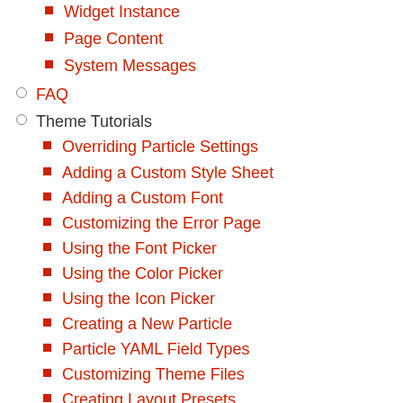Widget Instance
Page Content
System Messages
FAQ
Theme Tutorials
Overriding Particle Settings
Adding a Custom Style Sheet
Adding a Custom Font
Customizing the Error Page
Using the Font Picker
Using the Color Picker
Using the Icon Picker
Creating a New Particle
Particle YAML Field Types
Customizing Theme Files
Creating Layout Presets
Creating Custom File Overrides
Theme Font Index